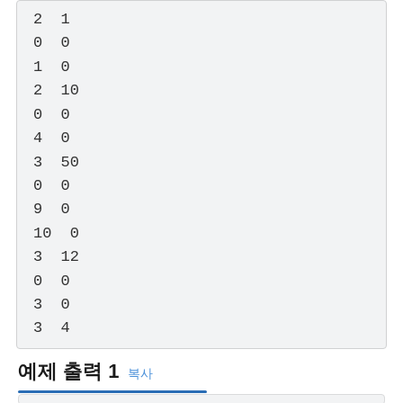2 1
0 0
1 0
2 10
0 0
4 0
3 50
0 0
9 0
10 0
3 12
0 0
3 0
3 4
예제 출력 1 복사